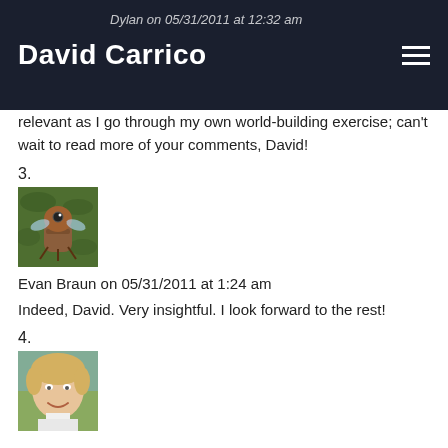David Carrico
Dylan on 05/31/2011 at 12:32 am — ...it is a great thought. I had remembered reading that once and had forgotten it. Pretty relevant as I go through my own world-building exercise; can't wait to read more of your comments, David!
3.
[Figure (photo): Avatar image of a cartoon bee-like character with wings, brown and tan colors, set against a green leafy background]
Evan Braun on 05/31/2011 at 1:24 am
Indeed, David. Very insightful. I look forward to the rest!
4.
[Figure (photo): Avatar photo of a woman with short blonde hair, smiling, wearing a white top, outdoors]